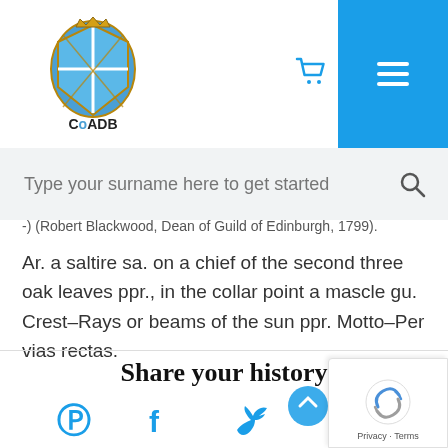[Figure (logo): CoADB Crest Ready logo with heraldic shield]
[Figure (screenshot): Shopping cart icon in blue and hamburger menu button in blue]
Type your surname here to get started
-) (Robert Blackwood, Dean of Guild of Edinburgh, 1799).
Ar. a saltire sa. on a chief of the second three oak leaves ppr., in the collar point a mascle gu. Crest–Rays or beams of the sun ppr. Motto–Per vias rectas.
Share your history
[Figure (illustration): Pinterest, Facebook, and Twitter social media icons in blue]
[Figure (screenshot): Google reCAPTCHA badge with Privacy and Terms links]